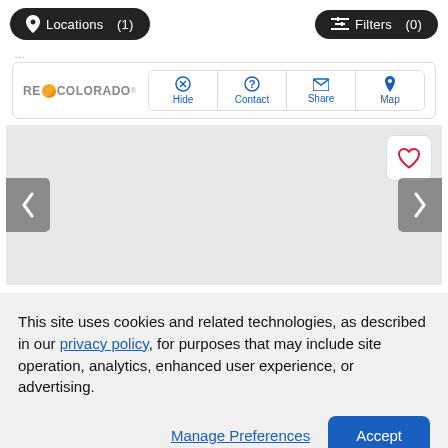[Figure (screenshot): Top navigation bar with Locations (1) and Filters (0) buttons on a real estate website]
[Figure (screenshot): REColorado listing card header with Hide, Contact, Share, Map action buttons and a photo carousel area with left/right arrows and a heart/favorite button]
This site uses cookies and related technologies, as described in our privacy policy, for purposes that may include site operation, analytics, enhanced user experience, or advertising.
Manage Preferences  Accept